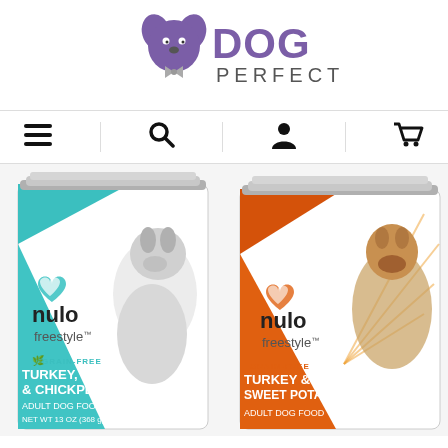[Figure (logo): Dog Perfect logo: cartoon dog face with bow tie next to bold purple text 'DOG PERFECT']
[Figure (infographic): Navigation bar with four icons: hamburger menu, search magnifying glass, user/person silhouette, shopping cart]
[Figure (photo): Two Nulo Freestyle canned dog food products side by side. Left: teal/blue can with husky puppy, Grain-Free Turkey, Salmon & Chickpeas Recipe, Adult Dog Food, Net Wt 13 OZ (368g). Right: orange can with boxer dog, Grain-Free Turkey & Sweet Potato Recipe, Adult Dog Food.]